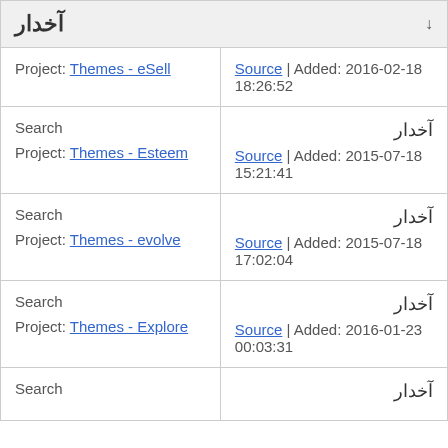آخدار
| Project: Themes - eSell | Source | Added: 2016-02-18 18:26:52 |
| Search
Project: Themes - Esteem | آخدار
Source | Added: 2015-07-18 15:21:41 |
| Search
Project: Themes - evolve | آخدار
Source | Added: 2015-07-18 17:02:04 |
| Search
Project: Themes - Explore | آخدار
Source | Added: 2016-01-23 00:03:31 |
| Search | آخدار |